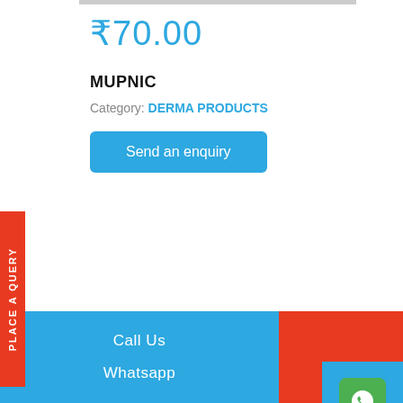₹70.00
MUPNIC
Category: DERMA PRODUCTS
Send an enquiry
Description
MUPNIC is the fusion of Mupirocin Ointment which antibiotic medicine and is used to treat certain skin infections such as recurring boils, impetigo, infected follicles, and some other skin problems. This works stopping the growth of the bacteria as it prevents the
Call Us
Whatsapp
PLACE A QUERY